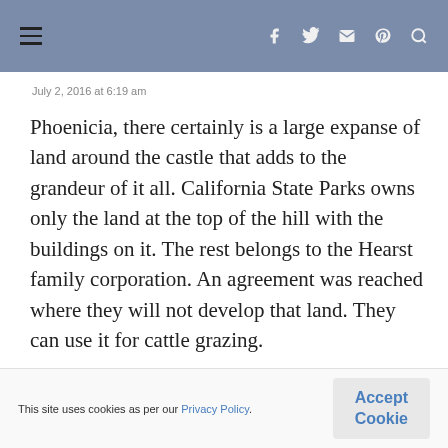≡  f  twitter  instagram  pinterest  search
July 2, 2016 at 6:19 am
Phoenicia, there certainly is a large expanse of land around the castle that adds to the grandeur of it all. California State Parks owns only the land at the top of the hill with the buildings on it. The rest belongs to the Hearst family corporation. An agreement was reached where they will not develop that land. They can use it for cattle grazing.
This site uses cookies as per our Privacy Policy.  Accept Cookie